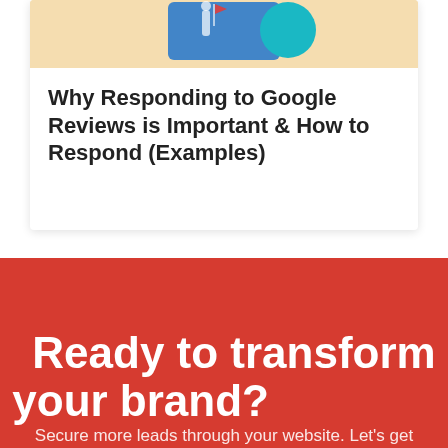[Figure (illustration): Card with a peach/tan background showing a partial illustration of a figure with blue/teal icon elements at the top]
Why Responding to Google Reviews is Important & How to Respond (Examples)
Ready to transform your brand?
Secure more leads through your website. Let's get